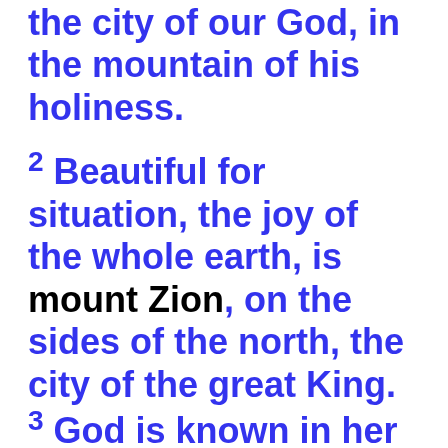the city of our God, in the mountain of his holiness.
2 Beautiful for situation, the joy of the whole earth, is mount Zion, on the sides of the north, the city of the great King.
3 God is known in her palaces for a refuge.
4 For, lo, the kings were assembled, they passed